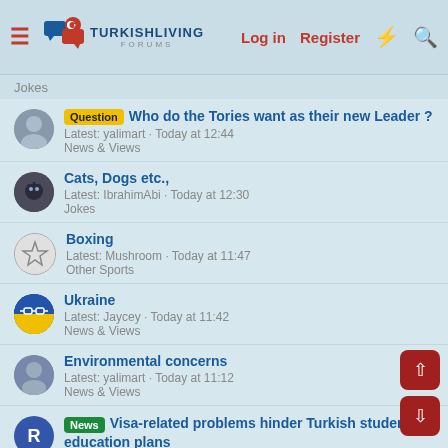TurkishLiving Forums — Log in | Register
Jokes
Question — Who do the Tories want as their new Leader ? Latest: yalimart · Today at 12:44 News & Views
Cats, Dogs etc., Latest: IbrahimAbi · Today at 12:30 Jokes
Boxing Latest: Mushroom · Today at 11:47 Other Sports
Ukraine Latest: Jaycey · Today at 11:42 News & Views
Environmental concerns Latest: yalimart · Today at 11:12 News & Views
News — Visa-related problems hinder Turkish students' education plans